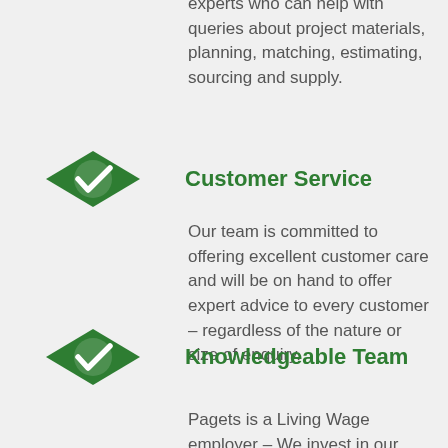We have numerous in-house experts who can help with queries about project materials, planning, matching, estimating, sourcing and supply.
[Figure (illustration): Green diamond-shaped eye icon with a white checkmark inside]
Customer Service
Our team is committed to offering excellent customer care and will be on hand to offer expert advice to every customer – regardless of the nature or size of enquiry.
[Figure (illustration): Green diamond-shaped eye icon with a white checkmark inside]
Knowledgeable Team
Pagets is a Living Wage employer – We invest in our